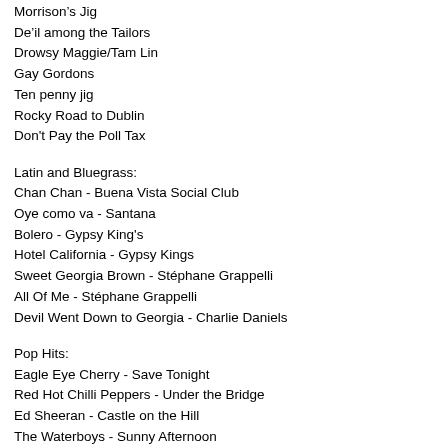Morrison's Jig
Devil among the Tailors
Drowsy Maggie/Tam Lin
Gay Gordons
Ten penny jig
Rocky Road to Dublin
Don't Pay the Poll Tax
Latin and Bluegrass:
Chan Chan - Buena Vista Social Club
Oye como va - Santana
Bolero - Gypsy King's
Hotel California - Gypsy Kings
Sweet Georgia Brown - Stéphane Grappelli
All Of Me - Stéphane Grappelli
Devil Went Down to Georgia - Charlie Daniels
Pop Hits:
Eagle Eye Cherry - Save Tonight
Red Hot Chilli Peppers - Under the Bridge
Ed Sheeran - Castle on the Hill
The Waterboys - Sunny Afternoon
Van Morrison - Moondance
Manu Chao - Por el Suelo
Robbie Williams - Millennium
Oasis - Wonderwall
The Doors - People are Strange
Thin Lizzy - Whisky in the Jar
The Waterboys - Fisherman's Blues